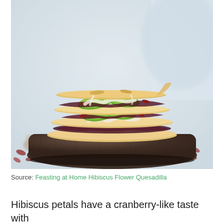[Figure (photo): A stack of hibiscus flower quesadilla slices layered with avocado, melted cheese, and dark hibiscus petals, placed on a dark wooden cutting board. Dried red hibiscus petals scattered around on a light surface. Soft focus background.]
Source: Feasting at Home Hibiscus Flower Quesadilla
Hibiscus petals have a cranberry-like taste with